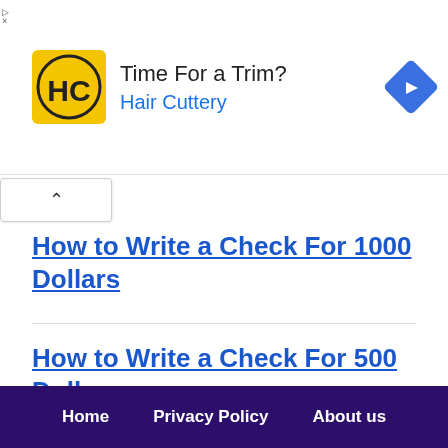[Figure (infographic): Advertisement banner for Hair Cuttery with yellow/black HC logo, text 'Time For a Trim?' and 'Hair Cuttery' in blue, and a blue diamond arrow icon on the right.]
How to Write a Check For 1000 Dollars
How to Write a Check For 500 Dollars
How to Write a Check For 100 Dollars
Home   Privacy Policy   About us